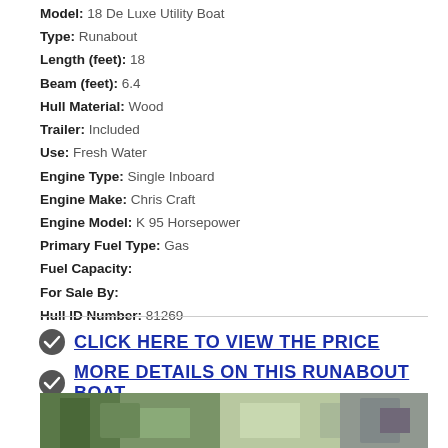Model: 18 De Luxe Utility Boat
Type: Runabout
Length (feet): 18
Beam (feet): 6.4
Hull Material: Wood
Trailer: Included
Use: Fresh Water
Engine Type: Single Inboard
Engine Make: Chris Craft
Engine Model: K 95 Horsepower
Primary Fuel Type: Gas
Fuel Capacity:
For Sale By:
Hull ID Number: 81269
CLICK HERE TO VIEW THE PRICE
MORE DETAILS ON THIS RUNABOUT BOAT
[Figure (photo): Outdoor photo strip showing a boat scene with trees and greenery]